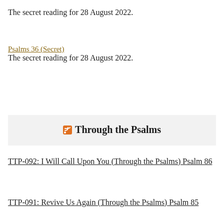The secret reading for 28 August 2022.
Psalms 36 (Secret)
The secret reading for 28 August 2022.
Through the Psalms
TTP-092: I Will Call Upon You (Through the Psalms) Psalm 86
TTP-091: Revive Us Again (Through the Psalms) Psalm 85